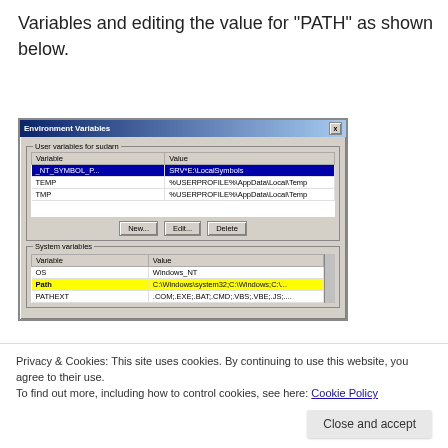Variables and editing the value for "PATH" as shown below.
[Figure (screenshot): Windows Environment Variables dialog showing User variables for sudarn (_NT_SYMBOL_P... with value SRV*E:\LocalSymbols highlighted in blue, TEMP and TMP with %USERPROFILE%\AppData\Local\Temp) and System variables section (OS: Windows_NT, Path highlighted in yellow with C:\Windows\system32;C:\Windows;C:\..., PATHEXT: .COM;.EXE;.BAT;.CMD;.VBS;.VBE;.JS;....)]
Privacy & Cookies: This site uses cookies. By continuing to use this website, you agree to their use.
To find out more, including how to control cookies, see here: Cookie Policy
Close and accept